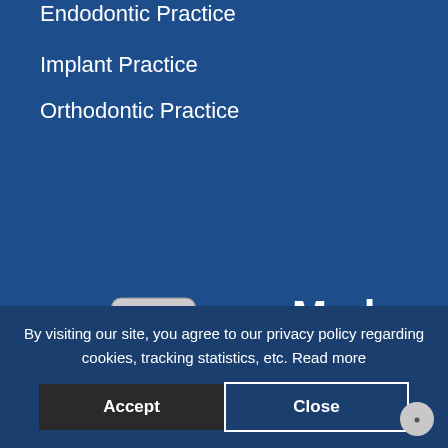Endodontic Practice
Implant Practice
Orthodontic Practice
[Figure (logo): MedMark Media logo: a square icon with a red EKG/heartbeat waveform on a silver/white background, followed by the text 'MedMark Media' where 'Med' is in red italic and 'Mark Media' is in white bold.]
MedMark Media is the leading interactive marketing and advertising company specializing in medical advertising, custom media and public relations for the U.S. dental
By visiting our site, you agree to our privacy policy regarding cookies, tracking statistics, etc. Read more